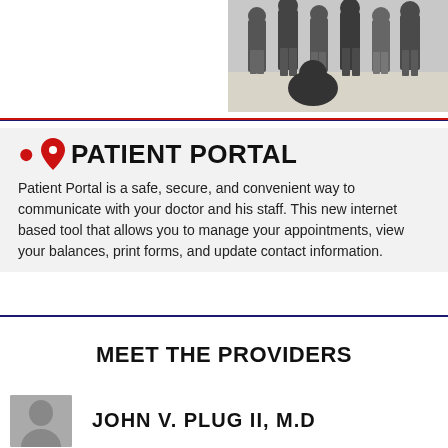[Figure (photo): Black and white photo of a group of people (athletes/players) from behind, wearing shorts and athletic gear, huddled together on a court or field.]
PATIENT PORTAL
Patient Portal is a safe, secure, and convenient way to communicate with your doctor and his staff. This new internet based tool that allows you to manage your appointments, view your balances, print forms, and update contact information.
MEET THE PROVIDERS
JOHN V. PLUG II, M.D.